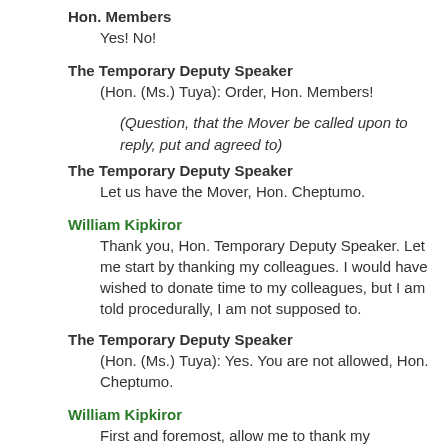Hon. Members
Yes! No!
The Temporary Deputy Speaker
(Hon. (Ms.) Tuya): Order, Hon. Members!
(Question, that the Mover be called upon to reply, put and agreed to)
The Temporary Deputy Speaker
Let us have the Mover, Hon. Cheptumo.
William Kipkiror
Thank you, Hon. Temporary Deputy Speaker. Let me start by thanking my colleagues. I would have wished to donate time to my colleagues, but I am told procedurally, I am not supposed to.
The Temporary Deputy Speaker
(Hon. (Ms.) Tuya): Yes. You are not allowed, Hon. Cheptumo.
William Kipkiror
First and foremost, allow me to thank my colleagues for their very valuable contributions during the Second Reading of this Bill. I am happy that the Members who have had a chance to speak have supported the Bill, save for only one Member who